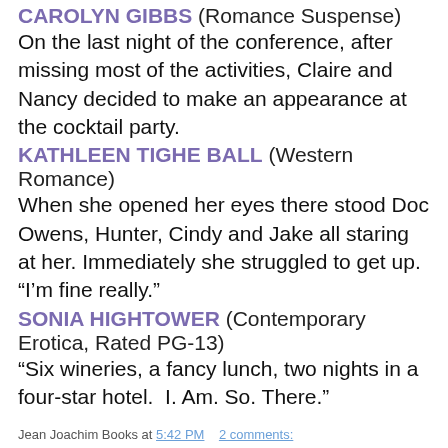CAROLYN GIBBS (Romance Suspense)
On the last night of the conference, after missing most of the activities, Claire and Nancy decided to make an appearance at the cocktail party.
KATHLEEN TIGHE BALL (Western Romance)
When she opened her eyes there stood Doc Owens, Hunter, Cindy and Jake all staring at her. Immediately she struggled to get up. “I’m fine really.”
SONIA HIGHTOWER (Contemporary Erotica, Rated PG-13)
“Six wineries, a fancy lunch, two nights in a four-star hotel.  I. Am. So. There.”
Jean Joachim Books at 5:42 PM    2 comments:
Share
Monday, November 19, 2012
200 WORD STORIES WRITTEN TO THIS PICTURE!